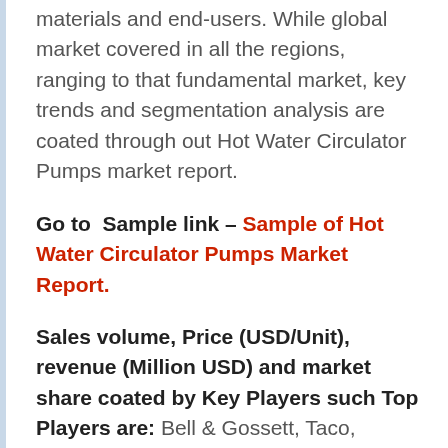materials and end-users. While global market covered in all the regions, ranging to that fundamental market, key trends and segmentation analysis are coated through out Hot Water Circulator Pumps market report.
Go to  Sample link – Sample of Hot Water Circulator Pumps Market Report.
Sales volume, Price (USD/Unit), revenue (Million USD) and market share coated by Key Players such Top Players are: Bell & Gossett, Taco, ARMSTRONG PUMPS, CENTURY ELECTRIC, LAING THERMOTECH, Watts, BACOENG, Grundfos, GooDeal, HSH-Flo, Yosoo, Zjchao,